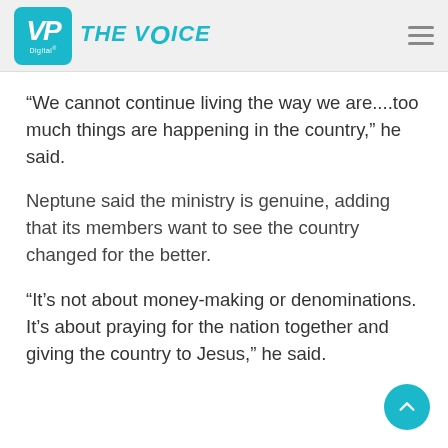VP Digital — THE VOICE
“We cannot continue living the way we are....too much things are happening in the country,” he said.
Neptune said the ministry is genuine, adding that its members want to see the country changed for the better.
“It’s not about money-making or denominations. It’s about praying for the nation together and giving the country to Jesus,” he said.